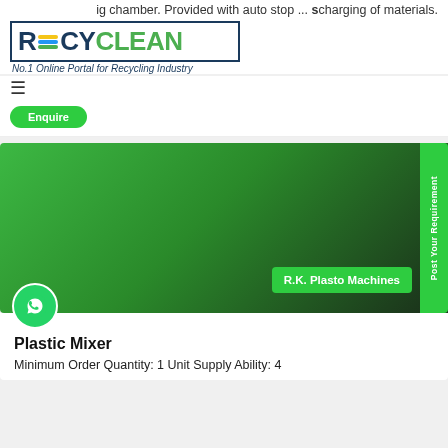ig chamber. Provided with auto stop ... scharging of materials.
[Figure (logo): Recyclean logo with tagline: No.1 Online Portal for Recycling Industry]
≡ (hamburger menu icon)
Enquire (button)
[Figure (photo): Plastic Mixer product image with green gradient background, R.K. Plasto Machines badge, WhatsApp icon, and Post Your Requirement vertical tab]
Plastic Mixer
Minimum Order Quantity: 1 Unit Supply Ability: 4